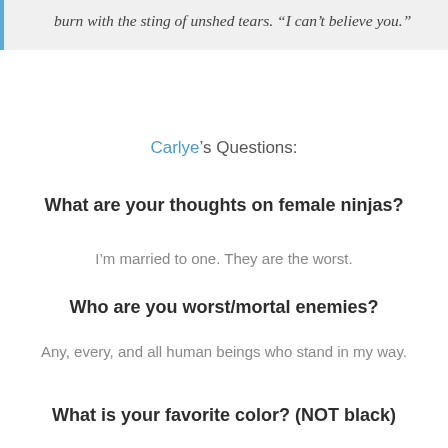burn with the sting of unshed tears. “I can’t believe you.”
Carlye’s Questions:
What are your thoughts on female ninjas?
I’m married to one. They are the worst.
Who are you worst/mortal enemies?
Any, every, and all human beings who stand in my way.
What is your favorite color? (NOT black)